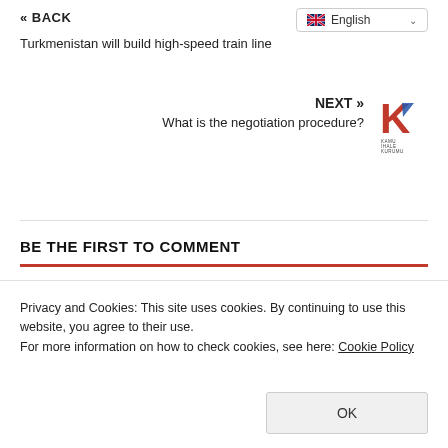« BACK
English
Turkmenistan will build high-speed train line
NEXT »
What is the negotiation procedure?
[Figure (logo): Kamu İhale Kurumu logo with stylized red/blue K letter]
BE THE FIRST TO COMMENT
Comments
Privacy and Cookies: This site uses cookies. By continuing to use this website, you agree to their use.
For more information on how to check cookies, see here: Cookie Policy
OK